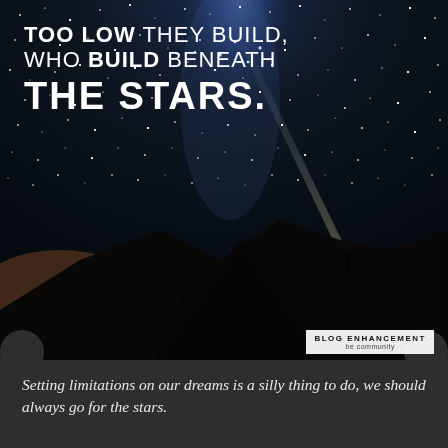[Figure (photo): Night sky photograph showing Milky Way with stars, mountain silhouette in foreground, and a person on the ridge pointing a flashlight/torch upward toward the sky. Warm orange glow near the horizon from city lights. Dark dramatic landscape.]
TOO LOW THEY BUILD, WHO BUILD BENEATH THE STARS.
BLOG ENHANCEMENT
be community
Setting limitations on our dreams is a silly thing to do, we should always go for the stars.